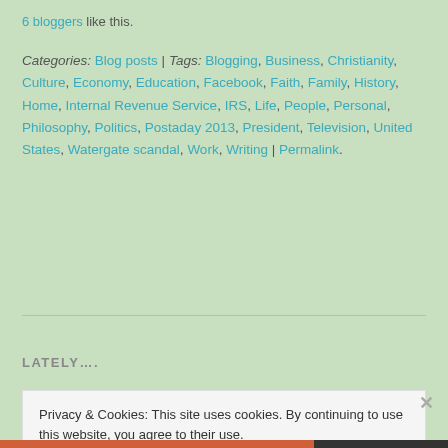6 bloggers like this.
Categories: Blog posts | Tags: Blogging, Business, Christianity, Culture, Economy, Education, Facebook, Faith, Family, History, Home, Internal Revenue Service, IRS, Life, People, Personal, Philosophy, Politics, Postaday 2013, President, Television, United States, Watergate scandal, Work, Writing | Permalink.
LATELY….
Privacy & Cookies: This site uses cookies. By continuing to use this website, you agree to their use.
To find out more, including how to control cookies, see here: Cookie Policy
Close and accept